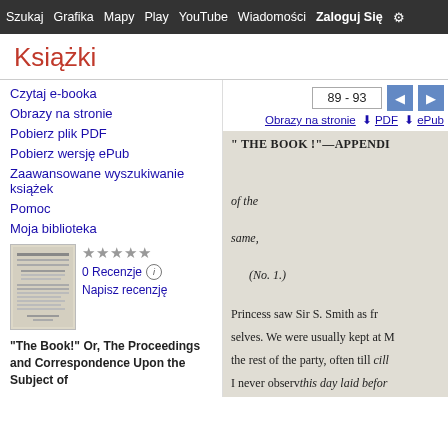Szukaj Grafika Mapy Play YouTube Wiadomości Zaloguj Się
Książki
Czytaj e-booka
Obrazy na stronie
Pobierz plik PDF
Pobierz wersję ePub
Zaawansowane wyszukiwanie książek
Pomoc
Moja biblioteka
0 Recenzje
Napisz recenzję
"The Book!" Or, The Proceedings and Correspondence Upon the Subject of
89 - 93
Obrazy na stronie   PDF   ePub
" THE BOOK !"—APPENDI
of the
same,
(No. 1.)
Princess saw Sir S. Smith as fr
selves. We were usually kept at M
the rest of the party, often till cill
I never observ this day laid befor